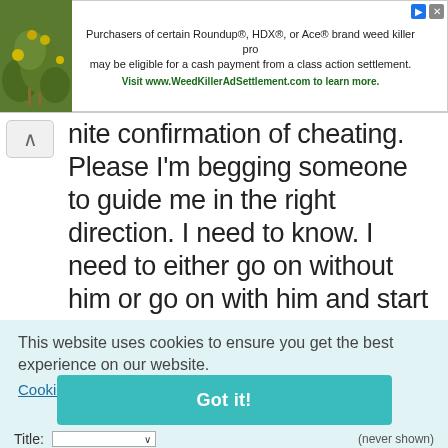[Figure (photo): Advertisement banner with green plant/flower image on left and text about Roundup weed killer class action settlement on right]
...inite confirmation of cheating. Please I'm begging someone to guide me in the right direction. I need to know. I need to either go on without him or go on with him and start a more secure and happy relationship. I want to have a baby one day and I need to know he isn't cheating bc for me I have horrible memories of bein cheated on and it actually...
This website uses cookies to ensure you get the best experience on our website. Cookie Policy
Got it!
Title: (never shown)